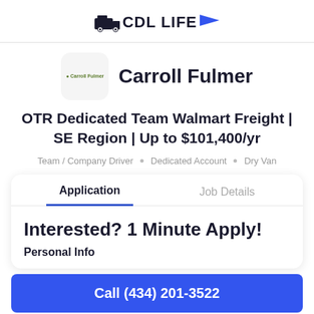CDL LIFE
[Figure (logo): Carroll Fulmer company logo in a rounded square box]
Carroll Fulmer
OTR Dedicated Team Walmart Freight | SE Region | Up to $101,400/yr
Team / Company Driver • Dedicated Account • Dry Van
Application   Job Details
Interested? 1 Minute Apply!
Personal Info
Call (434) 201-3522